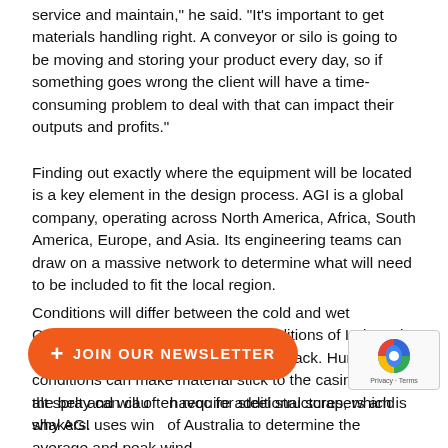service and maintain," he said. "It's important to get materials handling right. A conveyor or silo is going to be moving and storing your product every day, so if something goes wrong the client will have a time-consuming problem to deal with that can impact their outputs and profits."
Finding out exactly where the equipment will be located is a key element in the design process. AGI is a global company, operating across North America, Africa, South America, Europe, and Asia. Its engineering teams can draw on a massive network to determine what will need to be included to fit the local region.
Conditions will differ between the cold and wet Canadian conditions, the humid conditions of Indonesia and the dry heat of the Australian outback. Humid conditions can make material stick to the casings and the belt and will often require additional scrapers and shakers.
alt spray can cause havoc for steel structures, which is why AGI uses wind of Australia to determine the average and peak wind